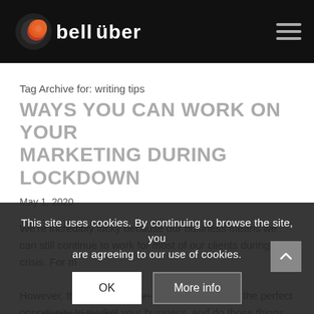bellüber
Tag Archive for: writing tips
WAYS YOU CAN WORK ON YOUR MARKETING DURING LOCKDOWN
May 1, 2020
We're incredibly lucky because our business means we can still continue to work for most of our clients during this crisis. For m...
However, that doe... This is the perfect oppo... your business, and do those things that you didn't have time to do before –
This site uses cookies. By continuing to browse the site, you are agreeing to our use of cookies.